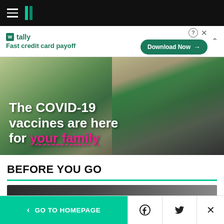HuffPost navigation bar with hamburger menu and logo
[Figure (photo): Advertisement banner for Tally app: Fast credit card payoff with Download Now button]
[Figure (photo): Photo of mother and child with text overlay: The COVID-19 vaccines are here for your family]
BEFORE YOU GO
[Figure (photo): Partial preview of article image at bottom of page]
GO TO HOMEPAGE | Facebook share | Twitter share | Close